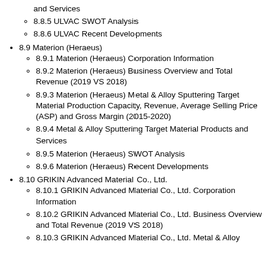and Services
8.8.5 ULVAC SWOT Analysis
8.8.6 ULVAC Recent Developments
8.9 Materion (Heraeus)
8.9.1 Materion (Heraeus) Corporation Information
8.9.2 Materion (Heraeus) Business Overview and Total Revenue (2019 VS 2018)
8.9.3 Materion (Heraeus) Metal & Alloy Sputtering Target Material Production Capacity, Revenue, Average Selling Price (ASP) and Gross Margin (2015-2020)
8.9.4 Metal & Alloy Sputtering Target Material Products and Services
8.9.5 Materion (Heraeus) SWOT Analysis
8.9.6 Materion (Heraeus) Recent Developments
8.10 GRIKIN Advanced Material Co., Ltd.
8.10.1 GRIKIN Advanced Material Co., Ltd. Corporation Information
8.10.2 GRIKIN Advanced Material Co., Ltd. Business Overview and Total Revenue (2019 VS 2018)
8.10.3 GRIKIN Advanced Material Co., Ltd. Metal & Alloy